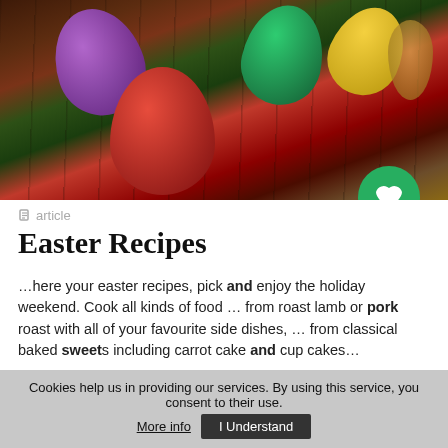[Figure (photo): Decorated Easter eggs on a wooden surface — purple patterned egg, red egg, green egg, yellow egg, dried flowers and wheat in background]
article
Easter Recipes
…here your easter recipes, pick and enjoy the holiday weekend. Cook all kinds of food … from roast lamb or pork roast with all of your favourite side dishes, … from classical baked sweets including carrot cake and cup cakes…
Category: Recept na jídlo   ♥ 8   👍 37
Cookies help us in providing our services. By using this service, you consent to their use. More info   I Understand